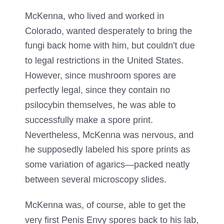McKenna, who lived and worked in Colorado, wanted desperately to bring the fungi back home with him, but couldn't due to legal restrictions in the United States. However, since mushroom spores are perfectly legal, since they contain no psilocybin themselves, he was able to successfully make a spore print. Nevertheless, McKenna was nervous, and he supposedly labeled his spore prints as some variation of agarics—packed neatly between several microscopy slides.
McKenna was, of course, able to get the very first Penis Envy spores back to his lab, and that's how they originally came to this country. How amazing is it that you, an amateur microscopist, now has the opportunity to study those very same PE spores?
What's So Enviable About The PE Psilocybin Mushroom Spore Strain?